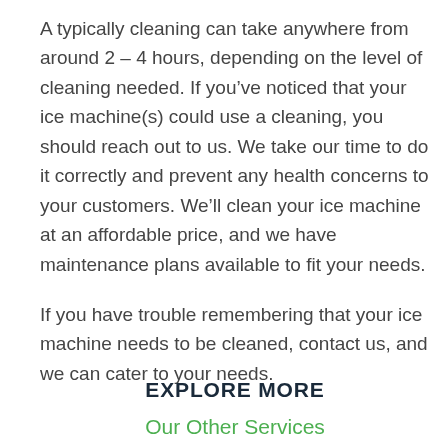A typically cleaning can take anywhere from around 2 – 4 hours, depending on the level of cleaning needed. If you've noticed that your ice machine(s) could use a cleaning, you should reach out to us. We take our time to do it correctly and prevent any health concerns to your customers. We'll clean your ice machine at an affordable price, and we have maintenance plans available to fit your needs.
If you have trouble remembering that your ice machine needs to be cleaned, contact us, and we can cater to your needs.
EXPLORE MORE
Our Other Services